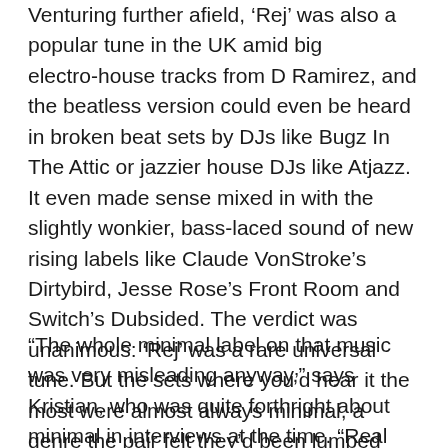Venturing further afield, 'Rej' was also a popular tune in the UK amid big electro-house tracks from D Ramirez, and the beatless version could even be heard in broken beat sets by DJs like Bugz In The Attic or jazzier house DJs like Atjazz. It even made sense mixed in with the slightly wonkier, bass-laced sound of new rising labels like Claude VonStroke's Dirtybird, Jesse Rose's Front Room and Switch's Dubsided. The verdict was unanimous: 'Rej' was a rare universal tune. But the sets where you'd hear it the most were almost always minimal, a genre the pair felt they'd been lumped into inaccurately at the time.
“The whole minimal label on that music was very misleading anyway,” says Kristian, who was quite forthright about minimal in interviews at the time. “Real minimal to me is Daniel Bell or very early